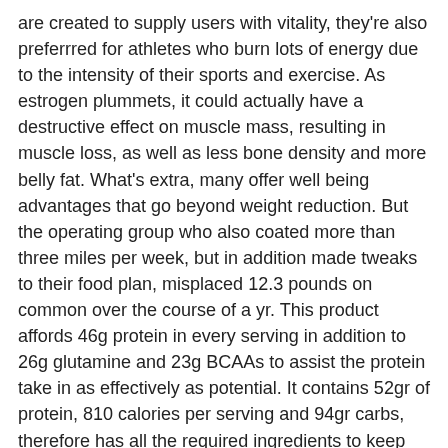are created to supply users with vitality, they're also preferrred for athletes who burn lots of energy due to the intensity of their sports and exercise. As estrogen plummets, it could actually have a destructive effect on muscle mass, resulting in muscle loss, as well as less bone density and more belly fat. What's extra, many offer well being advantages that go beyond weight reduction. But the operating group who also coated more than three miles per week, but in addition made tweaks to their food plan, misplaced 12.3 pounds on common over the course of a yr. This product affords 46g protein in every serving in addition to 26g glutamine and 23g BCAAs to assist the protein take in as effectively as potential. It contains 52gr of protein, 810 calories per serving and 94gr carbs, therefore has all the required ingredients to keep your physique at good energy levels all day long, even if you are training hard. Nonetheless, recognize that their muscle mass is accentuated by tans, vascularity, low body fats, and having done push-ups proper before strolling onto the stage.\n\nThe only real fixed is that they've lots of